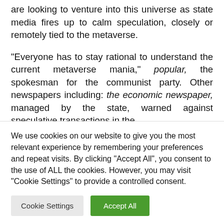are looking to venture into this universe as state media fires up to calm speculation, closely or remotely tied to the metaverse.
“Everyone has to stay rational to understand the current metaverse mania,” popular, the spokesman for the communist party. Other newspapers including: the economic newspaper, managed by the state, warned against speculative transactions in the
We use cookies on our website to give you the most relevant experience by remembering your preferences and repeat visits. By clicking “Accept All”, you consent to the use of ALL the cookies. However, you may visit "Cookie Settings" to provide a controlled consent.